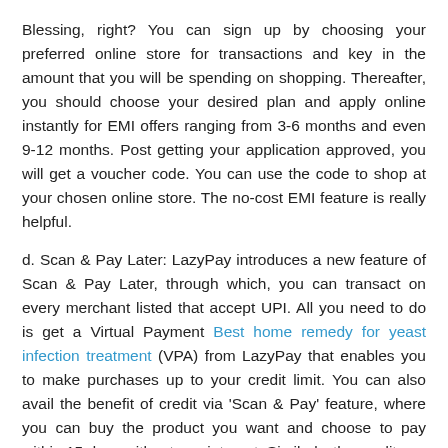Blessing, right? You can sign up by choosing your preferred online store for transactions and key in the amount that you will be spending on shopping. Thereafter, you should choose your desired plan and apply online instantly for EMI offers ranging from 3-6 months and even 9-12 months. Post getting your application approved, you will get a voucher code. You can use the code to shop at your chosen online store. The no-cost EMI feature is really helpful.
d. Scan & Pay Later: LazyPay introduces a new feature of Scan & Pay Later, through which, you can transact on every merchant listed that accept UPI. All you need to do is get a Virtual Payment Best home remedy for yeast infection treatment (VPA) from LazyPay that enables you to make purchases up to your credit limit. You can also avail the benefit of credit via 'Scan & Pay' feature, where you can buy the product you want and choose to pay within 15 days without any interest. Similarly, the credit can be converted into easy EMIs. Follow a few simple steps and avail the service.
Open your LazyPay app and activate your personalized VPA